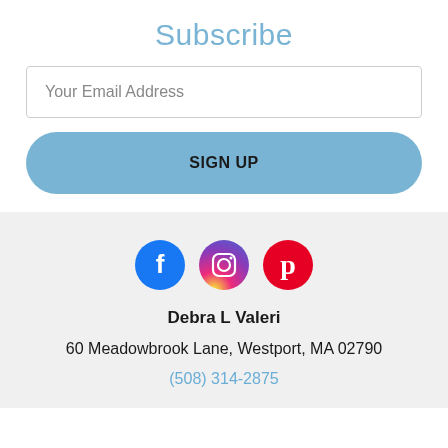Subscribe
Your Email Address
SIGN UP
[Figure (illustration): Social media icons: Facebook (blue circle with f), Instagram (pink/purple circle with camera icon), Pinterest (red circle with P)]
Debra L Valeri
60 Meadowbrook Lane, Westport, MA 02790
(508) 314-2875